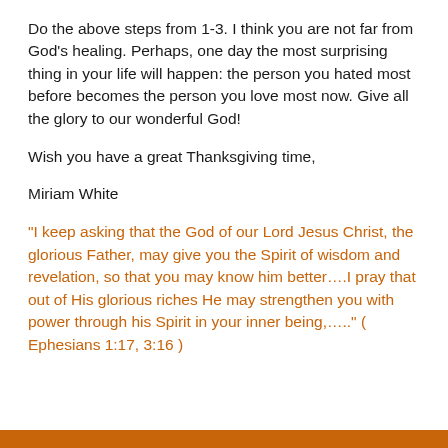Do the above steps from 1-3. I think you are not far from God's healing. Perhaps, one day the most surprising thing in your life will happen: the person you hated most before becomes the person you love most now. Give all the glory to our wonderful God!
Wish you have a great Thanksgiving time,
Miriam White
“I keep asking that the God of our Lord Jesus Christ, the glorious Father, may give you the Spirit of wisdom and revelation, so that you may know him better….I pray that out of His glorious riches He may strengthen you with power through his Spirit in your inner being,…..” ( Ephesians 1:17, 3:16 )